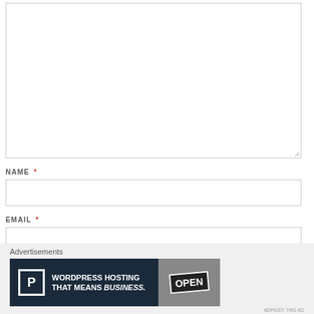[Figure (screenshot): Empty textarea input field with resize handle in bottom-right corner]
NAME *
[Figure (screenshot): Empty text input field for NAME]
EMAIL *
[Figure (screenshot): Empty text input field for EMAIL]
Advertisements
[Figure (screenshot): WordPress hosting advertisement banner: 'WORDPRESS HOSTING THAT MEANS BUSINESS.' with P icon and OPEN sign photo]
ADPOST: TRG AD